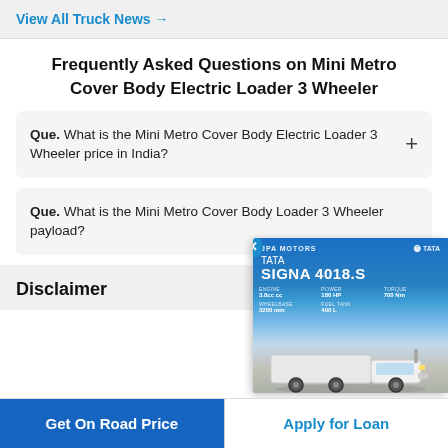View All Truck News →
Frequently Asked Questions on Mini Metro Cover Body Electric Loader 3 Wheeler
Que. What is the Mini Metro Cover Body Electric Loader 3 Wheeler price in India?
Que. What is the Mini Metro Cover Body Loader 3 Wheeler payload?
[Figure (screenshot): Advertisement overlay showing Tata Signa 4018.S truck with specifications and a truck photo. Has a close (x) button.]
Disclaimer
Get On Road Price
Apply for Loan